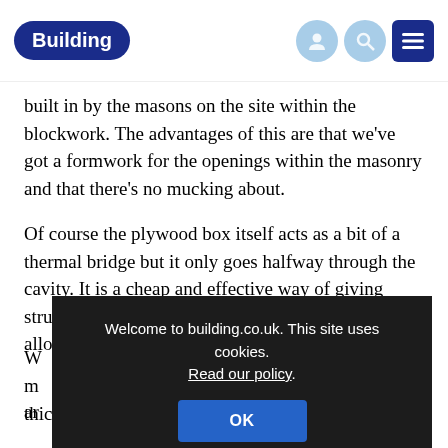Building
built in by the masons on the site within the blockwork. The advantages of this are that we've got a formwork for the openings within the masonry and that there's no mucking about.
Of course the plywood box itself acts as a bit of a thermal bridge but it only goes halfway through the cavity. It is a cheap and effective way of giving structural support for the windows and doors, and allows relative ease of at...
W... s m... ar... thicker part of the frame is on the outside.
[Figure (screenshot): Cookie consent overlay on building.co.uk reading: 'Welcome to building.co.uk. This site uses cookies. Read our policy.' with an OK button.]